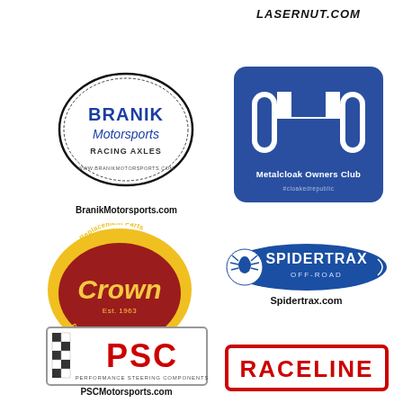[Figure (logo): LASERNUT.COM text logo in bold italic]
[Figure (logo): Branik Motorsports Racing Axles oval logo with BranikMotorsports.com below]
[Figure (logo): Metalcloak Owners Club blue square logo with #cloakedrepublic]
[Figure (logo): Crown Automotive Quality Replacement Parts for Jeep Vehicles circular logo, Est. 1963]
[Figure (logo): Spidertrax Off-Road logo with Spidertrax.com below]
[Figure (logo): PSC Performance Steering Components logo with PSCMotorsports.com below]
[Figure (logo): Raceline logo in red bordered rectangle]